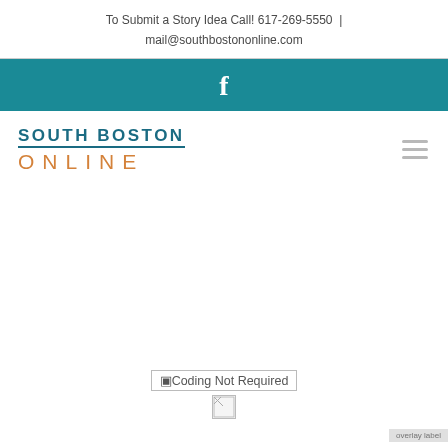To Submit a Story Idea Call! 617-269-5550 | mail@southbostononline.com
[Figure (logo): Facebook icon (letter f) in white on teal background bar]
[Figure (logo): South Boston Online logo: 'SOUTH BOSTON' in teal with underline, 'ONLINE' in orange spaced letters below]
[Figure (other): Hamburger menu icon (three horizontal gray lines)]
[Figure (other): Broken image placeholder with text 'Coding Not Required']
[Figure (other): Small broken image placeholder icon]